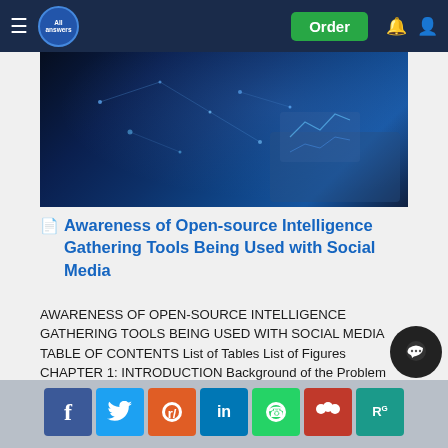All Answers | Order
[Figure (photo): Hands working on a digital interface with glowing data visualizations and network graphics on a dark blue background, representing technology/intelligence gathering]
Awareness of Open-source Intelligence Gathering Tools Being Used with Social Media
AWARENESS OF OPEN-SOURCE INTELLIGENCE GATHERING TOOLS BEING USED WITH SOCIAL MEDIA TABLE OF CONTENTS List of Tables List of Figures CHAPTER 1: INTRODUCTION Background of the Problem Problem Stateme...
[Figure (infographic): Social media share bar with buttons for Facebook, Twitter, Reddit, LinkedIn, WhatsApp, Mendeley, ResearchGate]